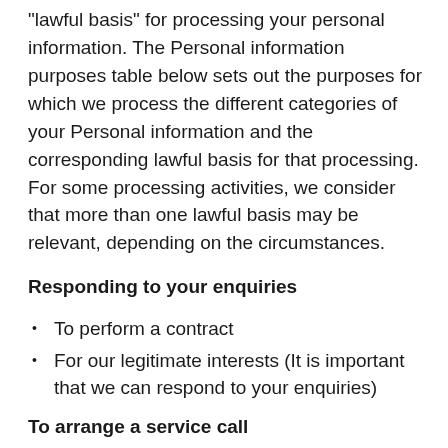“lawful basis” for processing your personal information. The Personal information purposes table below sets out the purposes for which we process the different categories of your Personal information and the corresponding lawful basis for that processing. For some processing activities, we consider that more than one lawful basis may be relevant, depending on the circumstances.
Responding to your enquiries
To perform a contract
For our legitimate interests (It is important that we can respond to your enquiries)
To arrange a service call